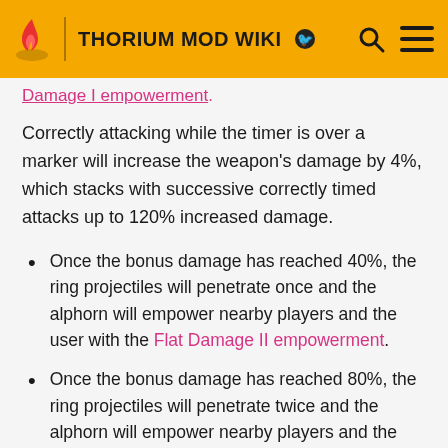THORIUM MOD WIKI
Damage I empowerment.
Correctly attacking while the timer is over a marker will increase the weapon's damage by 4%, which stacks with successive correctly timed attacks up to 120% increased damage.
Once the bonus damage has reached 40%, the ring projectiles will penetrate once and the alphorn will empower nearby players and the user with the Flat Damage II empowerment.
Once the bonus damage has reached 80%, the ring projectiles will penetrate twice and the alphorn will empower nearby players and the user with the Flat Damage III empowerment.